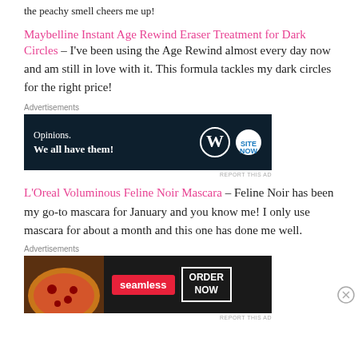the peachy smell cheers me up!
Maybelline Instant Age Rewind Eraser Treatment for Dark Circles – I've been using the Age Rewind almost every day now and am still in love with it. This formula tackles my dark circles for the right price!
[Figure (screenshot): Advertisement banner: dark navy background, text 'Opinions. We all have them!' with WordPress and SiteNow logos]
L'Oreal Voluminous Feline Noir Mascara – Feline Noir has been my go-to mascara for January and you know me! I only use mascara for about a month and this one has done me well.
[Figure (screenshot): Advertisement banner: Seamless food delivery ad with pizza image, seamless logo in red, ORDER NOW button]